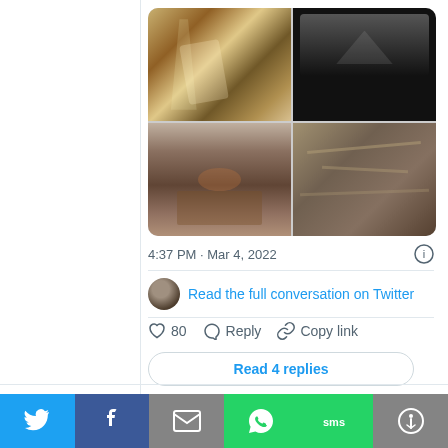[Figure (photo): Twitter/X embed card showing a 2x2 photo grid of destruction/conflict scenes. Top-left: people in smoke-filled rubble with bright light. Top-right: dark scene with debris and light from above. Bottom-left: burned wreckage on ground. Bottom-right: destroyed materials and debris.]
4:37 PM · Mar 4, 2022
Read the full conversation on Twitter
80  Reply  Copy link
Read 4 replies
“Russia, like the U.S., has an interest in the security policies of its
[Figure (screenshot): Social media share bar with Twitter (blue), Facebook (dark blue), Email (grey), WhatsApp (green), SMS (green), and More (grey) buttons]